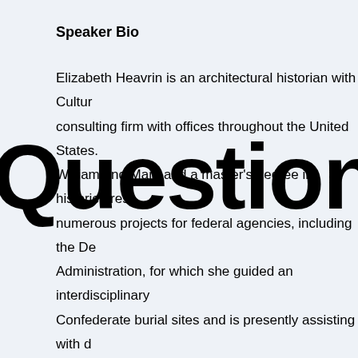Speaker Bio
Elizabeth Heavrin is an architectural historian with Cultur consulting firm with offices throughout the United States. William and Mary and a master's degree in historic prese numerous projects for federal agencies, including the De Administration, for which she guided an interdisciplinary Confederate burial sites and is presently assisting with d
Sara Amy Leach is the Senior Historian, National Cemet joining NCA in 2001, she has built an interdisciplinary His collections man¬management, preservation planning, co Previously she spent 13 years with the National Park Se Washington D.C., regional and park offices. She has aut